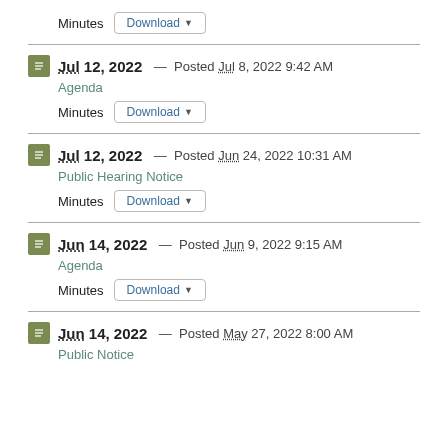Minutes  Download
Jul 12, 2022 — Posted Jul 8, 2022 9:42 AM  Agenda  Minutes  Download
Jul 12, 2022 — Posted Jun 24, 2022 10:31 AM  Public Hearing Notice  Minutes  Download
Jun 14, 2022 — Posted Jun 9, 2022 9:15 AM  Agenda  Minutes  Download
Jun 14, 2022 — Posted May 27, 2022 8:00 AM  Public Notice